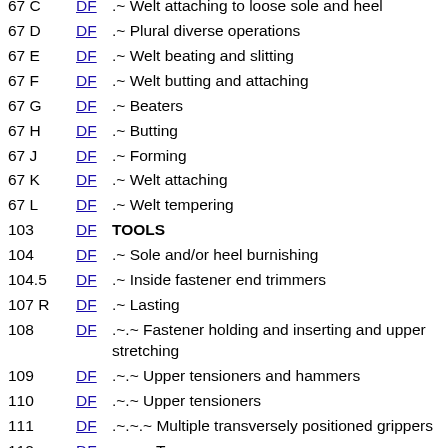67 C  DF  .~ Welt attaching to loose sole and heel
67 D  DF  .~ Plural diverse operations
67 E  DF  .~ Welt beating and slitting
67 F  DF  .~ Welt butting and attaching
67 G  DF  .~ Beaters
67 H  DF  .~ Butting
67 J  DF  .~ Forming
67 K  DF  .~ Welt attaching
67 L  DF  .~ Welt tempering
103  DF  TOOLS
104  DF  .~ Sole and/or heel burnishing
104.5  DF  .~ Inside fastener end trimmers
107 R  DF  .~ Lasting
108  DF  .~.~ Fastener holding and inserting and upper stretching
109  DF  .~.~ Upper tensioners and hammers
110  DF  .~.~ Upper tensioners
111  DF  .~.~.~ Multiple transversely positioned grippers
112  DF  .~.~.~ Toe